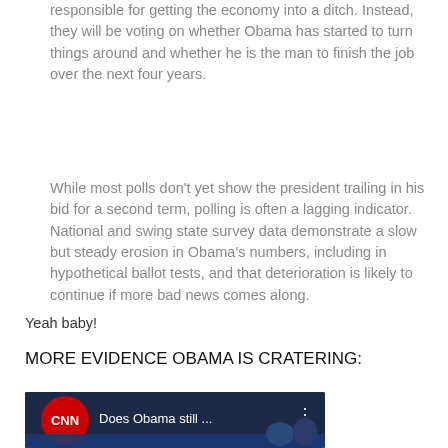responsible for getting the economy into a ditch. Instead, they will be voting on whether Obama has started to turn things around and whether he is the man to finish the job over the next four years.
While most polls don't yet show the president trailing in his bid for a second term, polling is often a lagging indicator. National and swing state survey data demonstrate a slow but steady erosion in Obama's numbers, including in hypothetical ballot tests, and that deterioration is likely to continue if more bad news comes along.
Yeah baby!
MORE EVIDENCE OBAMA IS CRATERING:
[Figure (screenshot): CNN video thumbnail showing 'Does Obama still ...' with CNN logo and two figures]